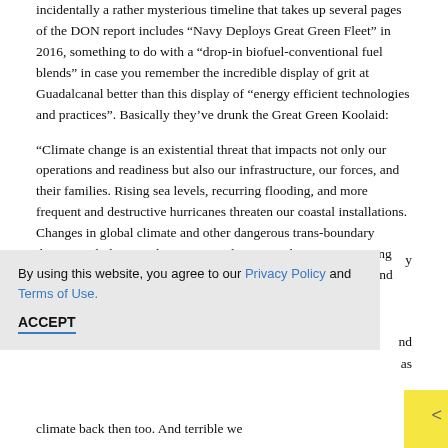incidentally a rather mysterious timeline that takes up several pages of the DON report includes “Navy Deploys Great Green Fleet” in 2016, something to do with a “drop-in biofuel-conventional fuel blends” in case you remember the incredible display of grit at Guadalcanal better than this display of “energy efficient technologies and practices”. Basically they’ve drunk the Great Green Koolaid:
“Climate change is an existential threat that impacts not only our operations and readiness but also our infrastructure, our forces, and their families. Rising sea levels, recurring flooding, and more frequent and destructive hurricanes threaten our coastal installations. Changes in global climate and other dangerous trans-boundary threats, including pandemics, are only expected to worsen, posing increasing challenges for our forces, platforms, infrastructure, and supporting communities, and driving or
By using this website, you agree to our Privacy Policy and Terms of Use.
ACCEPT
climate back then too. And terrible we